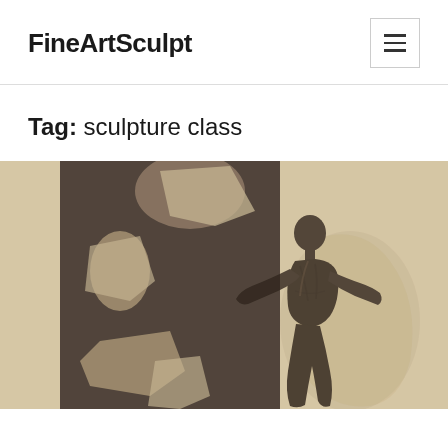FineArtSculpt
Tag: sculpture class
[Figure (photo): A dark bronze sculptural figure of a muscular human form leaning forward with arms outstretched, mounted against a dark metal relief panel with cutout shapes, all set against a textured cream/beige wall.]